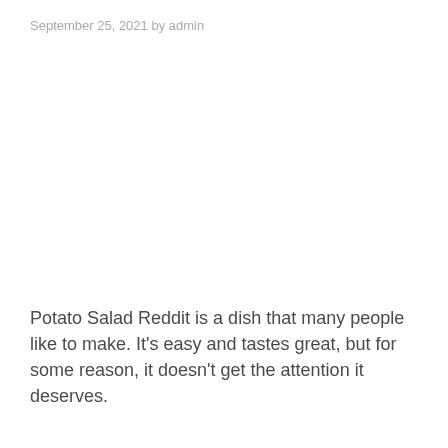September 25, 2021 by admin
Potato Salad Reddit is a dish that many people like to make. It's easy and tastes great, but for some reason, it doesn't get the attention it deserves.